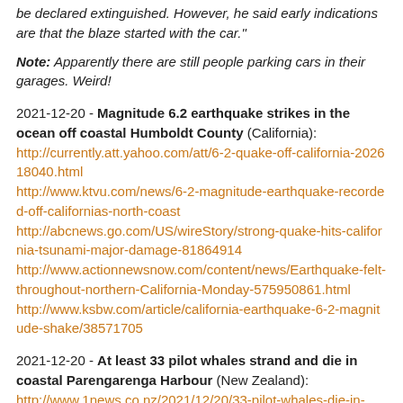be declared extinguished. However, he said early indications are that the blaze started with the car."
Note: Apparently there are still people parking cars in their garages. Weird!
2021-12-20 - Magnitude 6.2 earthquake strikes in the ocean off coastal Humboldt County (California): http://currently.att.yahoo.com/att/6-2-quake-off-california-202618040.html http://www.ktvu.com/news/6-2-magnitude-earthquake-recorded-off-californias-north-coast http://abcnews.go.com/US/wireStory/strong-quake-hits-california-tsunami-major-damage-81864914 http://www.actionnewsnow.com/content/news/Earthquake-felt-throughout-northern-California-Monday-575950861.html http://www.ksbw.com/article/california-earthquake-6-2-magnitude-shake/38571705
2021-12-20 - At least 33 pilot whales strand and die in coastal Parengarenga Harbour (New Zealand): http://www.1news.co.nz/2021/12/20/33-pilot-whales-die-in-